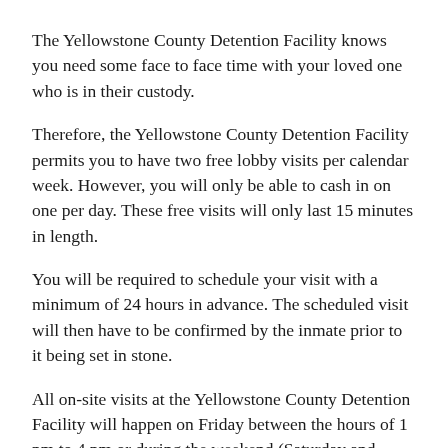The Yellowstone County Detention Facility knows you need some face to face time with your loved one who is in their custody.
Therefore, the Yellowstone County Detention Facility permits you to have two free lobby visits per calendar week. However, you will only be able to cash in on one per day. These free visits will only last 15 minutes in length.
You will be required to schedule your visit with a minimum of 24 hours in advance. The scheduled visit will then have to be confirmed by the inmate prior to it being set in stone.
All on-site visits at the Yellowstone County Detention Facility will happen on Friday between the hours of 1 pm to 4 pm or during the weekend (Saturday and Sunday) between the hours of 8 am to 11 am and then again during 1 pm to 4 pm.
You should also know that you will not have any contact with